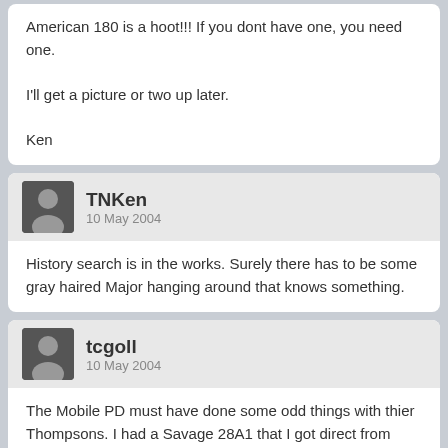American 180 is a hoot!!! If you dont have one, you need one.

I'll get a picture or two up later.

Ken
TNKen
10 May 2004
History search is in the works. Surely there has to be some gray haired Major hanging around that knows something.
tcgoll
10 May 2004
The Mobile PD must have done some odd things with thier Thompsons. I had a Savage 28A1 that I got direct from them in the 80's. The metal was in nice shape but the wood was painted with a bright red enamel. I bought a new set of wood for it(about $25 then) and cleaned the old wood a few months later. A beautiful grained walnut was under all of that crap so I changed it out again and it has the original wood on it today.